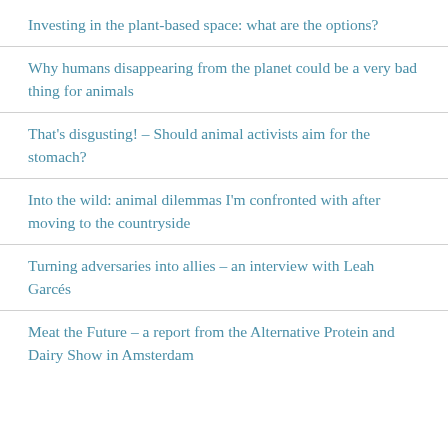Investing in the plant-based space: what are the options?
Why humans disappearing from the planet could be a very bad thing for animals
That's disgusting! – Should animal activists aim for the stomach?
Into the wild: animal dilemmas I'm confronted with after moving to the countryside
Turning adversaries into allies – an interview with Leah Garcés
Meat the Future – a report from the Alternative Protein and Dairy Show in Amsterdam